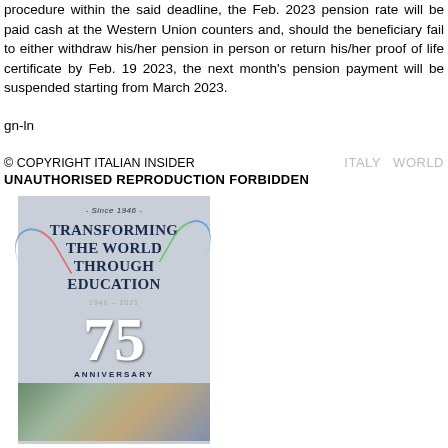procedure within the said deadline, the Feb. 2023 pension rate will be paid cash at the Western Union counters and, should the beneficiary fail to either withdraw his/her pension in person or return his/her proof of life certificate by Feb. 19 2023, the next month's pension payment will be suspended starting from March 2023.
gn-ln
© COPYRIGHT ITALIAN INSIDER   UNAUTHORISED REPRODUCTION FORBIDDEN   ITALY   WORLD
[Figure (advertisement): Advertisement for an organization's 75th anniversary since 1946, reading 'TRANSFORMING THE WORLD THROUGH EDUCATION' with '75 ANNIVERSARY' and '1946-2021', featuring colorful arcs and photo collage strip at bottom.]